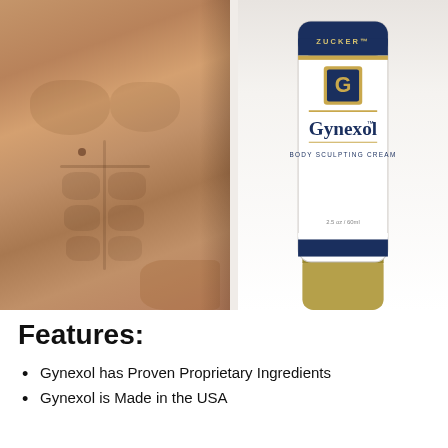[Figure (photo): Left half: shirtless muscular man's torso showing defined abs. Right half: Gynexol Body Sculpting Cream tube product with white and navy/gold branding, showing 'ZUCKER' at top, 'G' logo in gold square, 'Gynexol' brand name, 'BODY SCULPTING CREAM' subtitle, and gold cap at bottom.]
Features:
Gynexol has Proven Proprietary Ingredients
Gynexol is Made in the USA